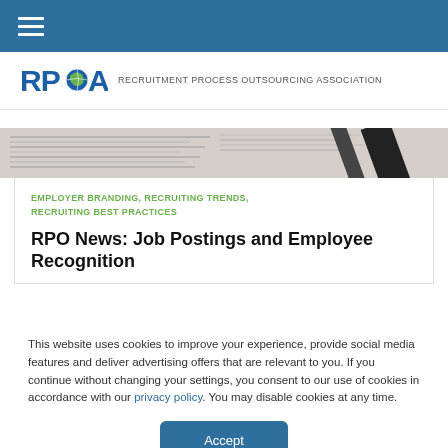Navigation menu bar with hamburger icon
[Figure (logo): RPOA logo — stylized globe between RP and A letters — with text RECRUITMENT PROCESS OUTSOURCING ASSOCIATION]
[Figure (photo): Hero banner showing newspapers and documents in grayscale]
EMPLOYER BRANDING, RECRUITING TRENDS, RECRUITING BEST PRACTICES
RPO News: Job Postings and Employee Recognition
This website uses cookies to improve your experience, provide social media features and deliver advertising offers that are relevant to you. If you continue without changing your settings, you consent to our use of cookies in accordance with our privacy policy. You may disable cookies at any time.